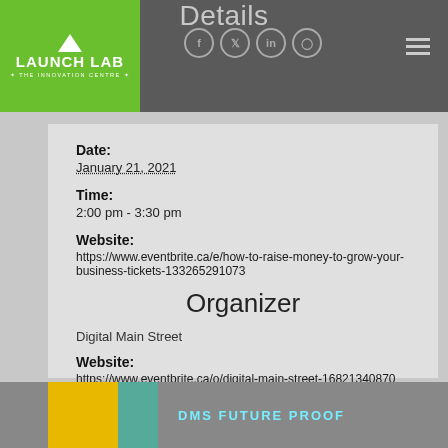Details
Date:
January 21, 2021
Time:
2:00 pm - 3:30 pm
Website:
https://www.eventbrite.ca/e/how-to-raise-money-to-grow-your-business-tickets-133265291073
Organizer
Digital Main Street
Website:
https://www.eventbrite.ca/o/digital-main-street-16821340870
[Figure (photo): Bottom strip showing partial image with DMS FUTURE PROOF text]